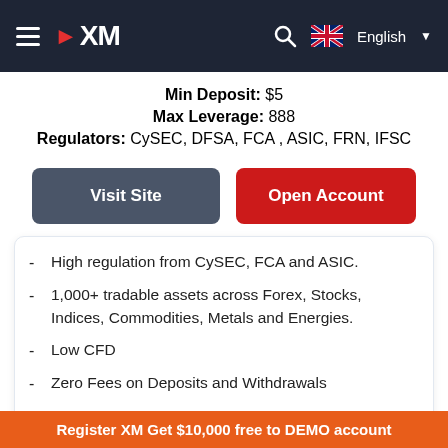XM — Min Deposit: $5 | Max Leverage: 888 | Regulators: CySEC, DFSA, FCA, ASIC, FRN, IFSC
Min Deposit: $5
Max Leverage: 888
Regulators: CySEC, DFSA, FCA , ASIC, FRN, IFSC
Visit Site
Open Account
High regulation from CySEC, FCA and ASIC.
1,000+ tradable assets across Forex, Stocks, Indices, Commodities, Metals and Energies.
Low CFD
Zero Fees on Deposits and Withdrawals
Great educational and research service
Register XM Get $10,000 free to DEMO account